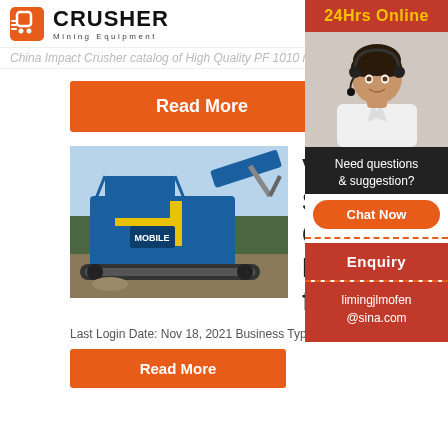[Figure (logo): Crusher Mining Equipment logo with shopping bag icon]
China Impact Crusher catalog of High Quality PF 1010 mphi
Read More
[Figure (photo): Blue mobile crushing and screening machine/plant on tracks at a quarry site]
Vibra... Scree... Concr... Machi... from C...
Last Login Date: Nov 18, 2021 Business Type: M...
Read More
[Figure (photo): 24Hrs Online sidebar with customer service representative wearing headset]
Need questions & suggestion?
Chat Now
Enquiry
limingjlmofen@sina.com